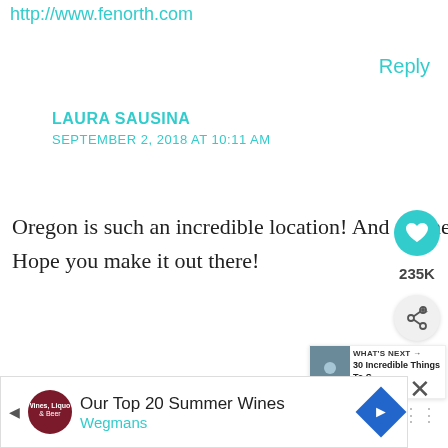http://www.fenorth.com
Reply
LAURA SAUSINA
SEPTEMBER 2, 2018 AT 10:11 AM
Oregon is such an incredible location! And so cheap compared to Iceland : ) Hope you make it out there!
Cheers,
Laura
[Figure (other): Like button (heart icon) with 235K count and share button]
[Figure (other): What's Next panel: thumbnail image with text '30 Incredible Things To S...']
[Figure (other): Advertisement banner: Our Top 20 Summer Wines - Wegmans]